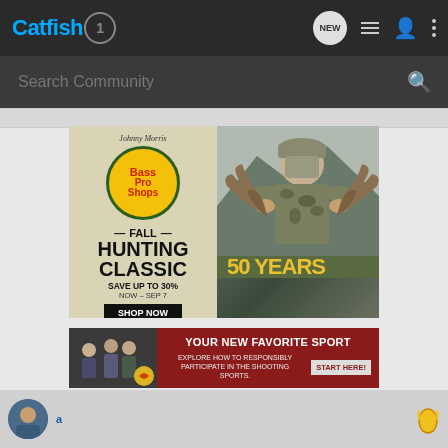Catfish1 — Navigation bar with logo, NEW chat, list, profile, and menu icons
Search Community
[Figure (infographic): Bass Pro Shops — Johnny Morris — Fall Hunting Classic. Save up to 30%. Now - Sep 7. Shop Now. 50 Years. Left panel beige with logo and text, right panel shows hunter in camo gear with antlers.]
[Figure (infographic): YOUR NEW FAVORITE SPORT — Explore how to responsibly participate in the shooting sports. START HERE! advertisement with red background and outdoor scene on left.]